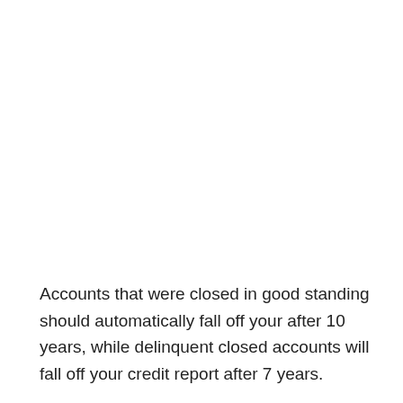Accounts that were closed in good standing should automatically fall off your after 10 years, while delinquent closed accounts will fall off your credit report after 7 years.